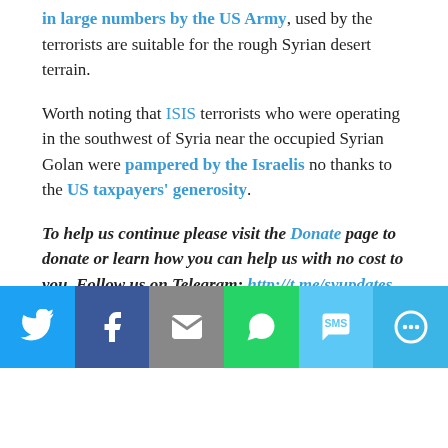in large numbers by the US Army, used by the terrorists are suitable for the rough Syrian desert terrain.
Worth noting that ISIS terrorists who were operating in the southwest of Syria near the occupied Syrian Golan were pampered by the Israelis no thanks to the US taxpayers' generosity.
To help us continue please visit the Donate page to donate or learn how you can help us with no cost to you. Follow us on Telegram: http://t.me/syupdates link will open the Telegram app.
Related
[Figure (infographic): Social sharing bar with Twitter, Facebook, Email, WhatsApp, SMS, and More buttons]